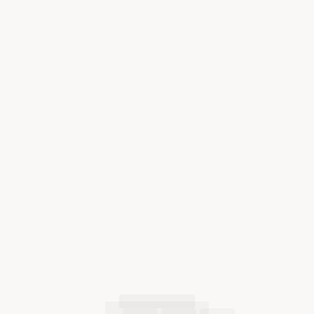[Figure (other): Nearly blank page with a very faint watermark or logo graphic visible in the center, and faint text or imagery at the bottom. The page background is an off-white/light gray tone. No clearly legible text content is present.]